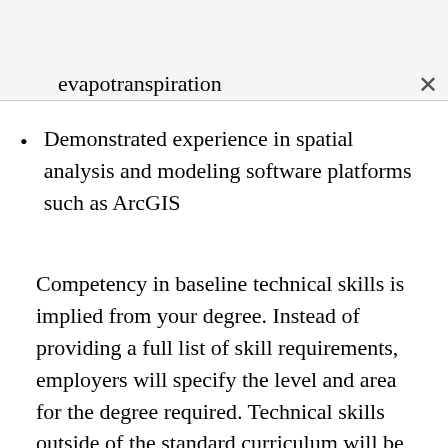evapotranspiration
Demonstrated experience in spatial analysis and modeling software platforms such as ArcGIS
Competency in baseline technical skills is implied from your degree. Instead of providing a full list of skill requirements, employers will specify the level and area for the degree required. Technical skills outside of the standard curriculum will be listed separately, like the second and third bullet points in the example listing. No surprises here: either you can do these things or you can't.